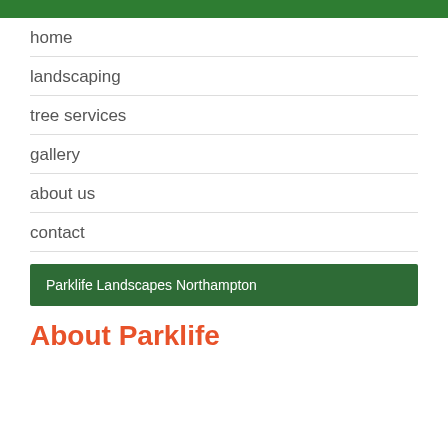home
landscaping
tree services
gallery
about us
contact
Parklife Landscapes Northampton
About Parklife